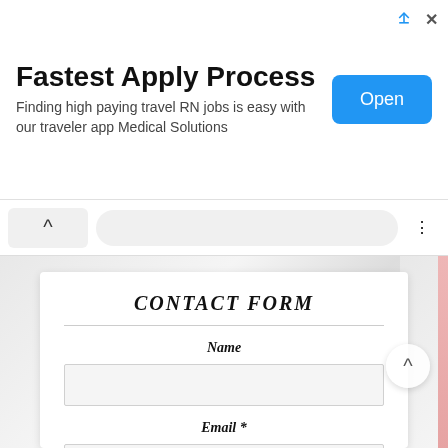[Figure (screenshot): Advertisement banner: 'Fastest Apply Process' with subtitle 'Finding high paying travel RN jobs is easy with our traveler app Medical Solutions' and a blue 'Open' button]
Name
Email *
Message *